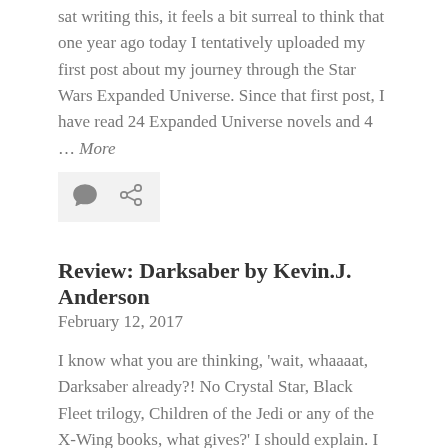sat writing this, it feels a bit surreal to think that one year ago today I tentatively uploaded my first post about my journey through the Star Wars Expanded Universe. Since that first post, I have read 24 Expanded Universe novels and 4 … More
[Figure (other): Icon bar with comment bubble icon and share/link icon on a light grey background]
Review: Darksaber by Kevin J. Anderson
February 12, 2017
I know what you are thinking, 'wait, whaaaat, Darksaber already?! No Crystal Star, Black Fleet trilogy, Children of the Jedi or any of the X-Wing books, what gives?' I should explain. I haven't reviewed Crystal Star/Children of the Jedi because I understand from internetverse that they are pretty bad. Sorry Waru! I don't tend to … More